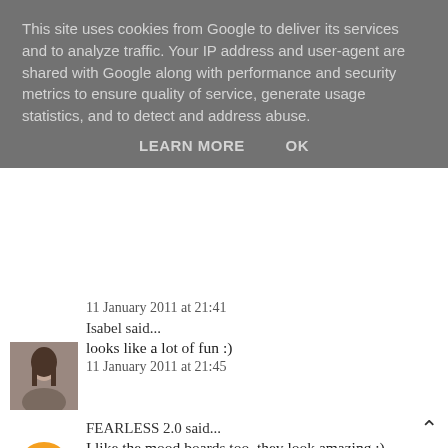This site uses cookies from Google to deliver its services and to analyze traffic. Your IP address and user-agent are shared with Google along with performance and security metrics to ensure quality of service, generate usage statistics, and to detect and address abuse.
LEARN MORE   OK
11 January 2011 at 21:41
Isabel said...
looks like a lot of fun :)
11 January 2011 at 21:45
FEARLESS 2.0 said...
I like the mood boards too, they look amazing :)
http://fashionlime.blogspot.com/
11 January 2011 at 21:51
Unknown said...
It looks lovely.
11 January 2011 at 21:52